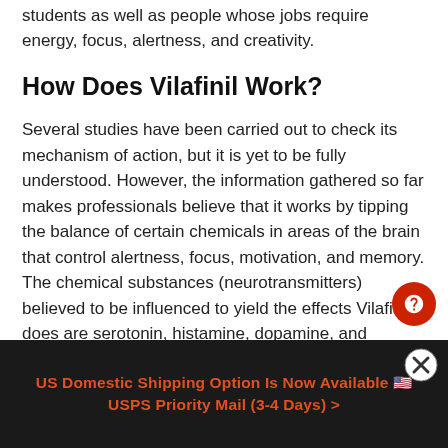students as well as people whose jobs require energy, focus, alertness, and creativity.
How Does Vilafinil Work?
Several studies have been carried out to check its mechanism of action, but it is yet to be fully understood. However, the information gathered so far makes professionals believe that it works by tipping the balance of certain chemicals in areas of the brain that control alertness, focus, motivation, and memory. The chemical substances (neurotransmitters) believed to be influenced to yield the effects Vilafinil does are serotonin, histamine, dopamine, and norepinephrine.
US Domestic Shipping Option Is Now Available 🇺🇸 USPS Priority Mail (3-4 Days) >